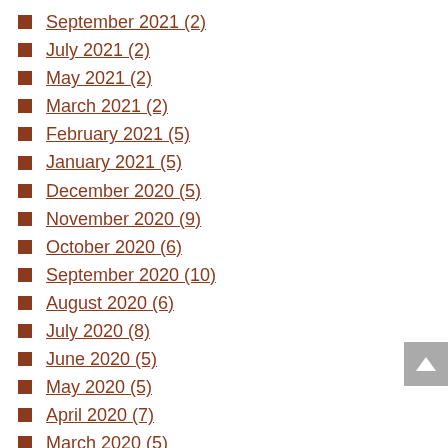September 2021 (2)
July 2021 (2)
May 2021 (2)
March 2021 (2)
February 2021 (5)
January 2021 (5)
December 2020 (5)
November 2020 (9)
October 2020 (6)
September 2020 (10)
August 2020 (6)
July 2020 (8)
June 2020 (5)
May 2020 (5)
April 2020 (7)
March 2020 (5)
February 2020 (5)
January 2020 (11)
November 2019 (4)